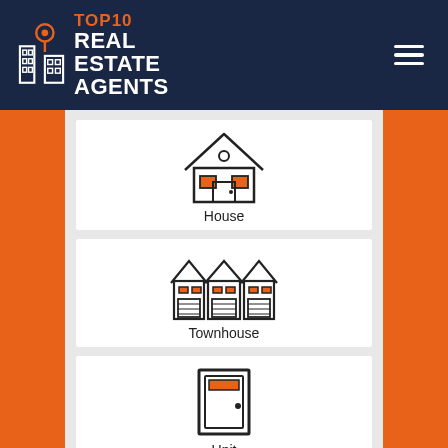TOP10 REAL ESTATE AGENTS
[Figure (illustration): House icon with roof, windows, door, orange accents, label: House]
[Figure (illustration): Townhouse row icon with multiple units, orange accents, label: Townhouse]
[Figure (illustration): Unit/door icon with rectangle door, orange accent, label: Unit]
[Figure (illustration): Land icon with sign on a platform, orange accent, label: Land]